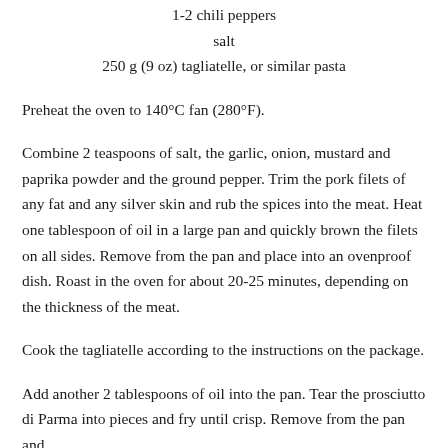1-2 chili peppers
salt
250 g (9 oz) tagliatelle, or similar pasta
Preheat the oven to 140°C fan (280°F).
Combine 2 teaspoons of salt, the garlic, onion, mustard and paprika powder and the ground pepper. Trim the pork filets of any fat and any silver skin and rub the spices into the meat. Heat one tablespoon of oil in a large pan and quickly brown the filets on all sides. Remove from the pan and place into an ovenproof dish. Roast in the oven for about 20-25 minutes, depending on the thickness of the meat.
Cook the tagliatelle according to the instructions on the package.
Add another 2 tablespoons of oil into the pan. Tear the prosciutto di Parma into pieces and fry until crisp. Remove from the pan and